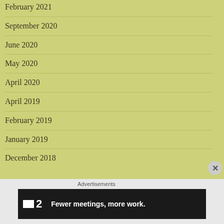February 2021
September 2020
June 2020
May 2020
April 2020
April 2019
February 2019
January 2019
December 2018
Advertisements
[Figure (screenshot): Dark advertisement banner for a product called '2' with logo showing a small square icon. Text reads: Fewer meetings, more work.]